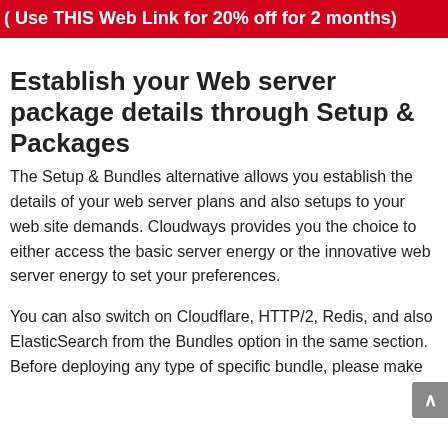( Use THIS Web Link for 20% off for 2 months)
Establish your Web server package details through Setup & Packages
The Setup & Bundles alternative allows you establish the details of your web server plans and also setups to your web site demands. Cloudways provides you the choice to either access the basic server energy or the innovative web server energy to set your preferences.
You can also switch on Cloudflare, HTTP/2, Redis, and also ElasticSearch from the Bundles option in the same section. Before deploying any type of specific bundle, please make